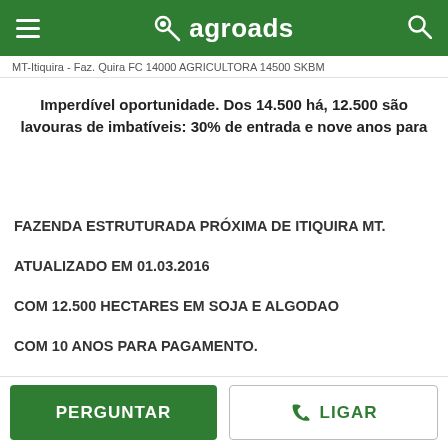agroads
MT-Itiquira - Faz. Quira FC 14000 AGRICULTORA 14500 SKBM
Imperdível oportunidade. Dos 14.500 há, 12.500 são lavouras de imbatíveis: 30% de entrada e nove anos para
FAZENDA ESTRUTURADA PRÓXIMA DE ITIQUIRA MT.
ATUALIZADO EM 01.03.2016
COM 12.500 HECTARES EM SOJA E ALGODAO
COM 10 ANOS PARA PAGAMENTO.
PERGUNTAR | LIGAR